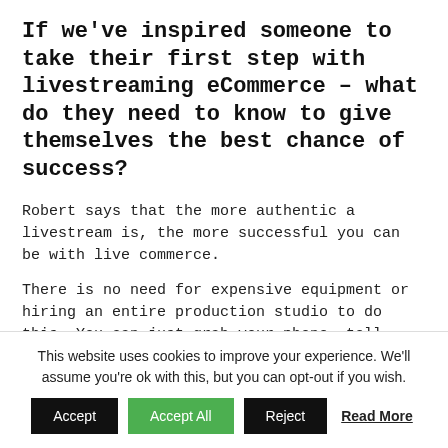If we've inspired someone to take their first step with livestreaming eCommerce – what do they need to know to give themselves the best chance of success?
Robert says that the more authentic a livestream is, the more successful you can be with live commerce.
There is no need for expensive equipment or hiring an entire production studio to do this. You can just grab your phone, tell your story to your audience in the most authentic way, and it will work.
Once you've started of course you've got to 'keep optimising'! So what's your favourite
This website uses cookies to improve your experience. We'll assume you're ok with this, but you can opt-out if you wish.